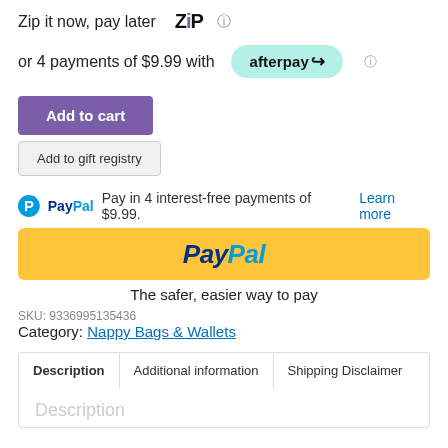Zip it now, pay later  ZIP  ℹ
or 4 payments of $9.99 with  afterpay  ℹ
Add to cart
Add to gift registry
PayPal  Pay in 4 interest-free payments of $9.99.  Learn more
[Figure (logo): PayPal yellow button with PayPal logo in dark blue and light blue italic text]
The safer, easier way to pay
SKU: 9336995135436
Category: Nappy Bags & Wallets
Description  Additional information  Shipping Disclaimer
Description